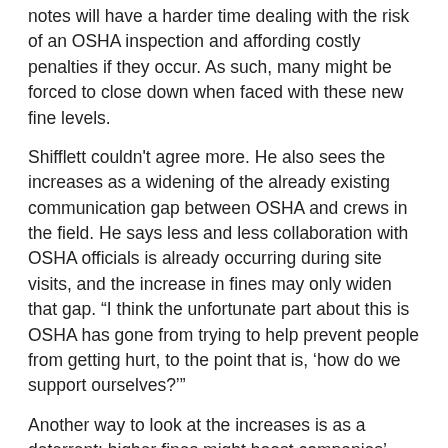notes will have a harder time dealing with the risk of an OSHA inspection and affording costly penalties if they occur. As such, many might be forced to close down when faced with these new fine levels.
Shifflett couldn't agree more. He also sees the increases as a widening of the already existing communication gap between OSHA and crews in the field. He says less and less collaboration with OSHA officials is already occurring during site visits, and the increase in fines may only widen that gap. “I think the unfortunate part about this is OSHA has gone from trying to help prevent people from getting hurt, to the point that is, ‘how do we support ourselves?’”
Another way to look at the increases is as a deterrent: higher fines might boost companies’ efforts to avoid paying them, thereby inspiring crews to practice safety more intently. Shifflett acknowledges this might be the case for some businesses but not all. Larger companies, Ace Carpentry included, will certainly pay more attention; at the same time, large companies usually have better safety programs instituted anyway.
Bigger companies are some of the ones free from the second in the...